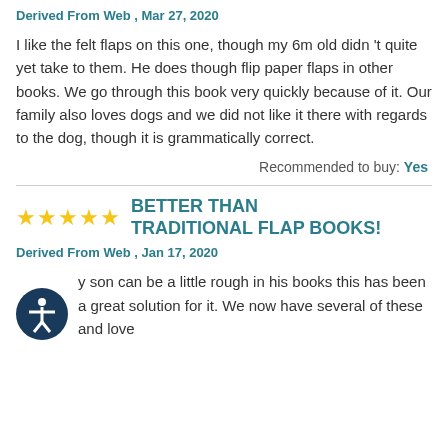Derived From Web , Mar 27, 2020
I like the felt flaps on this one, though my 6m old didn 't quite yet take to them. He does though flip paper flaps in other books. We go through this book very quickly because of it. Our family also loves dogs and we did not like it there with regards to the dog, though it is grammatically correct.
Recommended to buy: Yes
BETTER THAN TRADITIONAL FLAP BOOKS!
Derived From Web , Jan 17, 2020
y son can be a little rough in his books this has been a great solution for it. We now have several of these and love